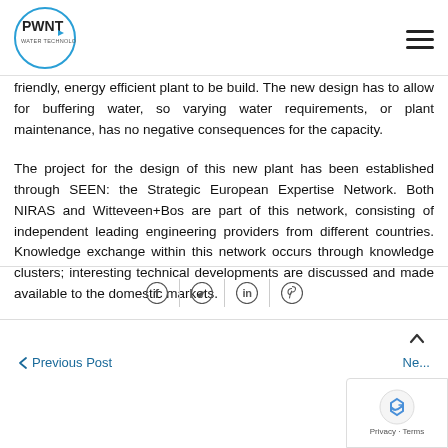PWNT Water Technology logo and navigation
friendly, energy efficient plant to be build. The new design has to allow for buffering water, so varying water requirements, or plant maintenance, has no negative consequences for the capacity.
The project for the design of this new plant has been established through SEEN: the Strategic European Expertise Network. Both NIRAS and Witteveen+Bos are part of this network, consisting of independent leading engineering providers from different countries. Knowledge exchange within this network occurs through knowledge clusters; interesting technical developments are discussed and made available to the domestic markets.
[Figure (other): Social share icons: Facebook, Twitter, LinkedIn, Pinterest]
Previous Post | Next | Privacy - Terms (reCAPTCHA badge)